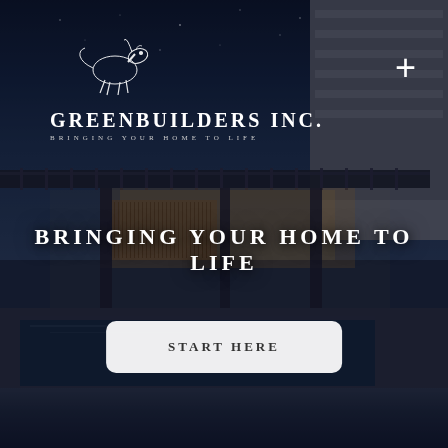[Figure (photo): Luxury modern home exterior at night with a pool in the foreground, pergola overhead, warm interior lighting visible through glass walls, dark sky with stars in background]
GREENBUILDERS INC.
BRINGING YOUR HOME TO LIFE
BRINGING YOUR HOME TO LIFE
START HERE